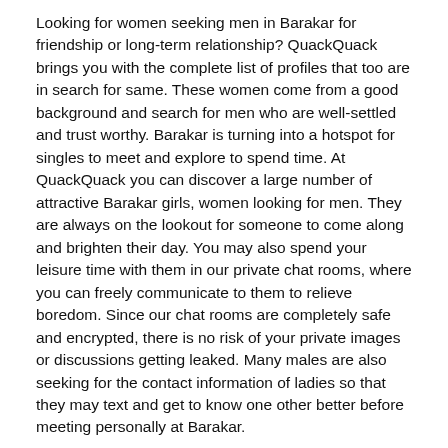Looking for women seeking men in Barakar for friendship or long-term relationship? QuackQuack brings you with the complete list of profiles that too are in search for same. These women come from a good background and search for men who are well-settled and trust worthy. Barakar is turning into a hotspot for singles to meet and explore to spend time. At QuackQuack you can discover a large number of attractive Barakar girls, women looking for men. They are always on the lookout for someone to come along and brighten their day. You may also spend your leisure time with them in our private chat rooms, where you can freely communicate to them to relieve boredom. Since our chat rooms are completely safe and encrypted, there is no risk of your private images or discussions getting leaked. Many males are also seeking for the contact information of ladies so that they may text and get to know one other better before meeting personally at Barakar.
Dating Women in Barakar
With online service, women seeking men in Barakar isn't that difficult. Just open you account on QuackQuack, complete your